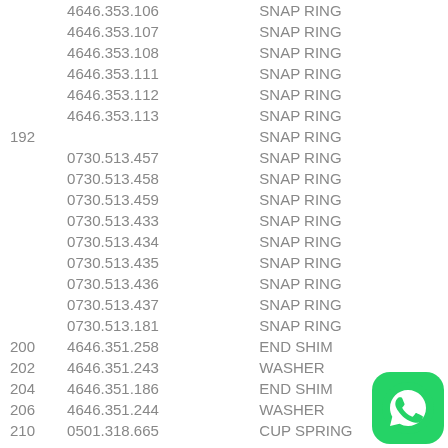|  | Part Number | Description |
| --- | --- | --- |
|  | 4646.353.106 | SNAP RING |
|  | 4646.353.107 | SNAP RING |
|  | 4646.353.108 | SNAP RING |
|  | 4646.353.111 | SNAP RING |
|  | 4646.353.112 | SNAP RING |
|  | 4646.353.113 | SNAP RING |
| 192 |  | SNAP RING |
|  | 0730.513.457 | SNAP RING |
|  | 0730.513.458 | SNAP RING |
|  | 0730.513.459 | SNAP RING |
|  | 0730.513.433 | SNAP RING |
|  | 0730.513.434 | SNAP RING |
|  | 0730.513.435 | SNAP RING |
|  | 0730.513.436 | SNAP RING |
|  | 0730.513.437 | SNAP RING |
|  | 0730.513.181 | SNAP RING |
| 200 | 4646.351.258 | END SHIM |
| 202 | 4646.351.243 | WASHER |
| 204 | 4646.351.186 | END SHIM |
| 206 | 4646.351.244 | WASHER |
| 210 | 0501.318.665 | CUP SPRING |